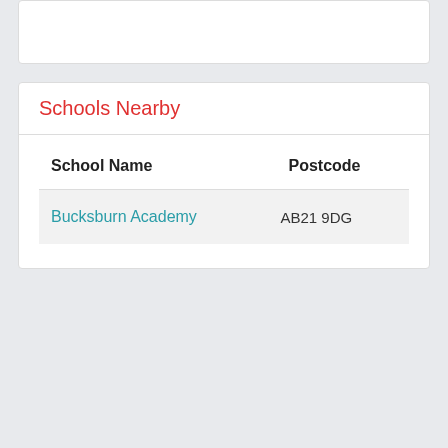Schools Nearby
| School Name | Postcode |
| --- | --- |
| Bucksburn Academy | AB21 9DG |